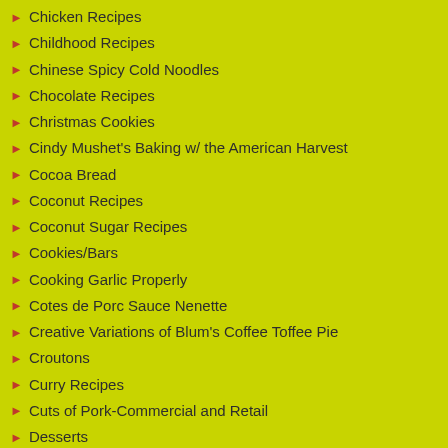Chicken Recipes
Childhood Recipes
Chinese Spicy Cold Noodles
Chocolate Recipes
Christmas Cookies
Cindy Mushet's Baking w/ the American Harvest
Cocoa Bread
Coconut Recipes
Coconut Sugar Recipes
Cookies/Bars
Cooking Garlic Properly
Cotes de Porc Sauce Nenette
Creative Variations of Blum's Coffee Toffee Pie
Croutons
Curry Recipes
Cuts of Pork-Commercial and Retail
Desserts
Diabetic Friendly Recipes
Dutch Babies
Early Development of Cooking Techniques